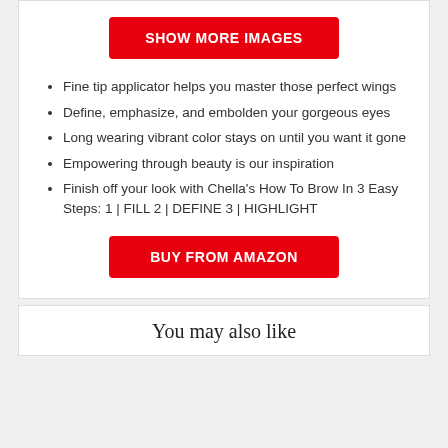[Figure (other): Red button labeled SHOW MORE IMAGES]
Fine tip applicator helps you master those perfect wings
Define, emphasize, and embolden your gorgeous eyes
Long wearing vibrant color stays on until you want it gone
Empowering through beauty is our inspiration
Finish off your look with Chella's How To Brow In 3 Easy Steps: 1 | FILL 2 | DEFINE 3 | HIGHLIGHT
[Figure (other): Red button labeled BUY FROM AMAZON]
You may also like